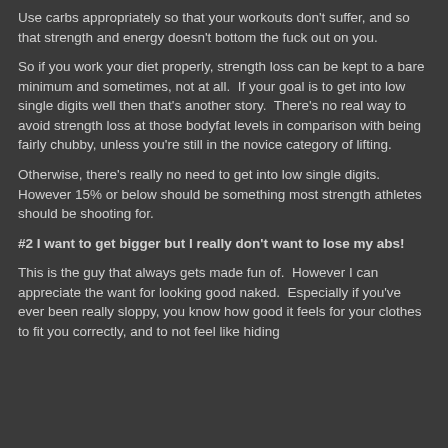Use carbs appropriately so that your workouts don't suffer, and so that strength and energy doesn't bottom the fuck out on you.
So if you work your diet properly, strength loss can be kept to a bare minimum and sometimes, not at all.  If your goal is to get into low single digits well then that's another story.  There's no real way to avoid strength loss at those bodyfat levels in comparison with being fairly chubby, unless you're still in the novice category of lifting.
Otherwise, there's really no need to get into low single digits.  However 15% or below should be something most strength athletes should be shooting for.
#2 I want to get bigger but I really don't want to lose my abs!
This is the guy that always gets made fun of.  However I can appreciate the want for looking good naked.  Especially if you've ever been really sloppy, you know how good it feels for your clothes to fit you correctly, and to not feel like hiding